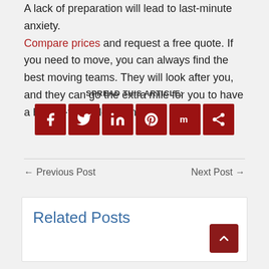A lack of preparation will lead to last-minute anxiety. Compare prices and request a free quote. If you need to move, you can always find the best moving teams. They will look after you, and they can go the extra mile for you to have a hassle-free relocation.
SPREAD THIS ARTICLE:
[Figure (other): Social sharing buttons: Facebook, Twitter, LinkedIn, Pinterest, Mix, Share]
← Previous Post
Next Post →
Related Posts